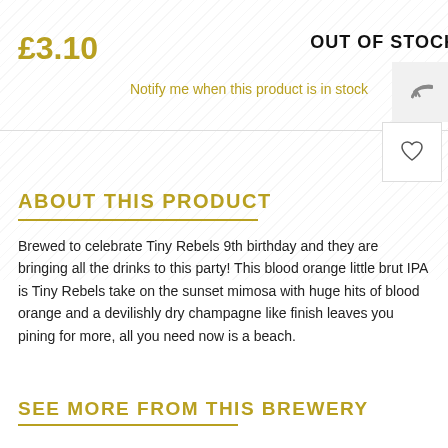£3.10
OUT OF STOCK
Notify me when this product is in stock
ABOUT THIS PRODUCT
Brewed to celebrate Tiny Rebels 9th birthday and they are bringing all the drinks to this party! This blood orange little brut IPA is Tiny Rebels take on the sunset mimosa with huge hits of blood orange and a devilishly dry champagne like finish leaves you pining for more, all you need now is a beach.
SEE MORE FROM THIS BREWERY